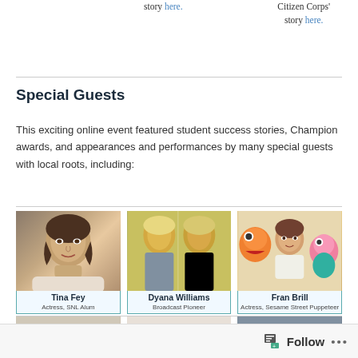Read Jonathan's story here.
Citizen Corps' story here.
Special Guests
This exciting online event featured student success stories, Champion awards, and appearances and performances by many special guests with local roots, including:
[Figure (photo): Photo of Tina Fey with name caption: Tina Fey, Actress, SNL Alum]
[Figure (photo): Photo of Dyana Williams with name caption: Dyana Williams, Broadcast Pioneer]
[Figure (photo): Photo of Fran Brill with Sesame Street puppets, caption: Fran Brill, Actress, Sesame Street Puppeteer]
[Figure (photo): Partial photo of male guest]
[Figure (photo): Partial photo of child guest]
[Figure (photo): Partial photo of female guest]
Follow •••